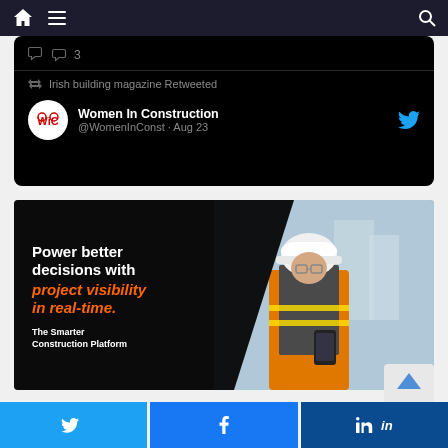[Figure (screenshot): Website navigation bar with home icon, hamburger menu icon, and search icon on dark background]
[Figure (screenshot): Twitter card showing retweet indicator 'Irish building magazine Retweeted', and tweet author Women In Construction @WomenInConst · Aug 23]
[Figure (infographic): Advertisement banner: 'Power better decisions with project visibility in real-time. The Smarter Construction Platform' with photo of construction worker in hard hat and hi-vis vest]
[Figure (screenshot): Social share bar with Twitter, Facebook, and LinkedIn share buttons]